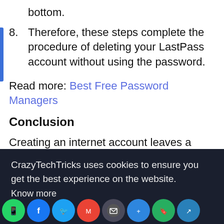bottom.
8. Therefore, these steps complete the procedure of deleting your LastPass account without using the password.
Read more: Best Free Password Managers
Conclusion
Creating an internet account leaves a digital ...
[Figure (screenshot): Cookie consent overlay from CrazyTechTricks website: 'CrazyTechTricks uses cookies to ensure you get the best experience on the website. Know more' with an OKAY button.]
[Figure (infographic): Social sharing icon bar at the bottom: WhatsApp (green), Facebook (blue), Twitter (light blue), Gmail (red), mail (dark), share (blue), bookmark (green), and another blue icon.]